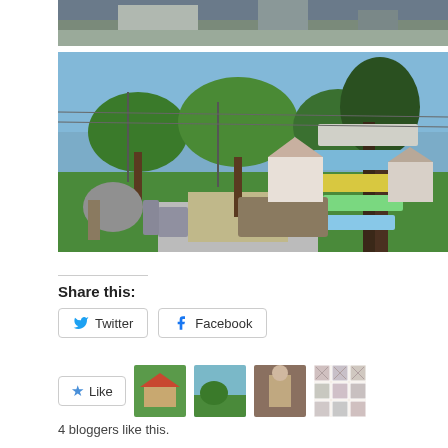[Figure (photo): Partial top strip of an outdoor street/neighborhood photo, cropped]
[Figure (photo): Outdoor community gathering space with colorful signage on a pole, chairs and people on grass, green trees and houses in background, blue sky]
Share this:
Twitter  Facebook
Like
4 bloggers like this.